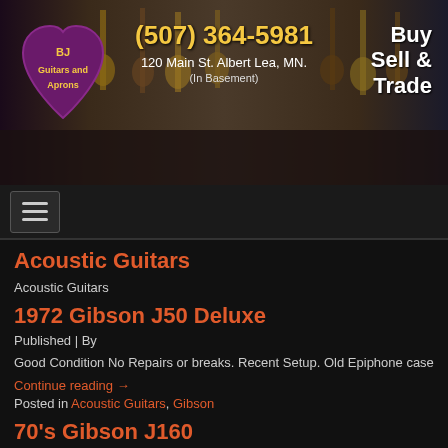[Figure (photo): BJ Guitars and Aprons store banner with phone number (507) 364-5981, address 120 Main St. Albert Lea, MN. (In Basement), and Buy Sell & Trade text on the right. Guitar store interior visible in background.]
[Figure (other): Hamburger navigation menu icon (three horizontal lines) on dark background]
Acoustic Guitars
Acoustic Guitars
1972 Gibson J50 Deluxe
Published | By
Good Condition No Repairs or breaks. Recent Setup. Old Epiphone case
Continue reading →
Posted in Acoustic Guitars, Gibson
70's Gibson J160
Published | By